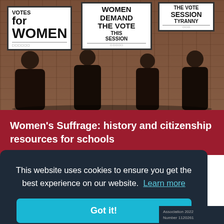[Figure (photo): Black and white historical photograph of women's suffrage protesters holding signs reading 'VOTES FOR WOMEN', 'WOMEN DEMAND THE VOTE THIS SESSION', and 'THE VOTE THIS SESSION'. Women dressed in early 20th century clothing.]
Women's Suffrage: history and citizenship resources for schools
This website uses cookies to ensure you get the best experience on our website. Learn more
Got it!
Association 2022 Number 1120261